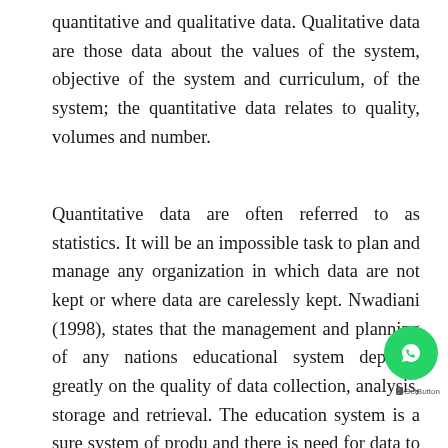quantitative and qualitative data. Qualitative data are those data about the values of the system, objective of the system and curriculum, of the system; the quantitative data relates to quality, volumes and number.
Quantitative data are often referred to as statistics. It will be an impossible task to plan and manage any organization in which data are not kept or where data are carelessly kept. Nwadiani (1998), states that the management and planning of any nations educational system depends greatly on the quality of data collection, analysis, storage and retrieval. The education system is a sure system of produ and there is need for data to enhance good input output in the system.